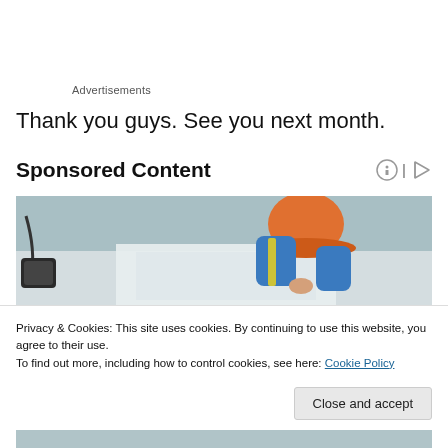Advertisements
Thank you guys. See you next month.
Sponsored Content
[Figure (photo): Overhead view of a construction worker wearing an orange hard hat and high-visibility vest, leaning over blueprints or plans on a table.]
Privacy & Cookies: This site uses cookies. By continuing to use this website, you agree to their use.
To find out more, including how to control cookies, see here: Cookie Policy
Close and accept
[Figure (photo): Bottom strip showing partial view of another construction image.]